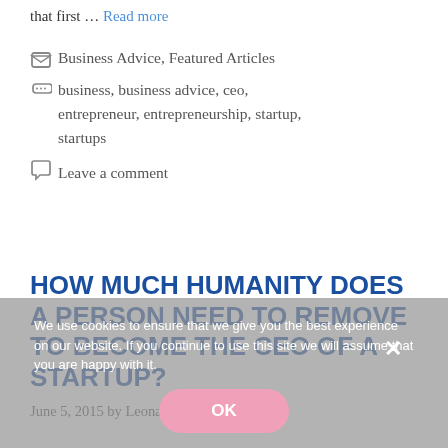that first … Read more
Business Advice, Featured Articles
business, business advice, ceo, entrepreneur, entrepreneurship, startup, startups
Leave a comment
HOW MUCH HUMANITY DOES A PERSON NEED TO REMOVE TO BECOME THE CEO OF A STARTUP?
June 5, 2015 by Leonard Kim
We use cookies to ensure that we give you the best experience on our website. If you continue to use this site we will assume that you are happy with it.